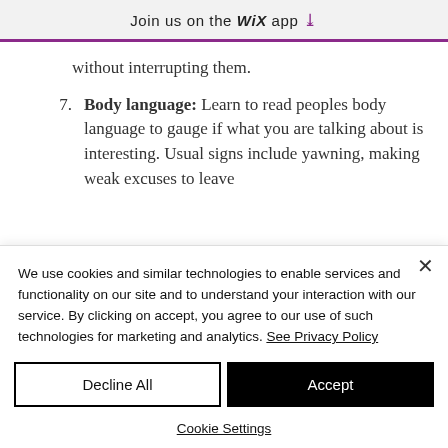Join us on the WiX app ↓
without interrupting them.
7. Body language: Learn to read peoples body language to gauge if what you are talking about is interesting. Usual signs include yawning, making weak excuses to leave
We use cookies and similar technologies to enable services and functionality on our site and to understand your interaction with our service. By clicking on accept, you agree to our use of such technologies for marketing and analytics. See Privacy Policy
Decline All
Accept
Cookie Settings